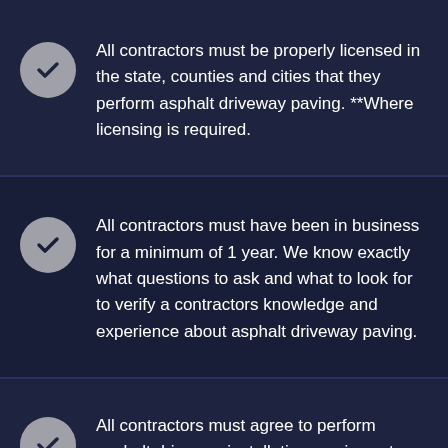All contractors must be properly licensed in the state, counties and cities that they perform asphalt driveway paving. **Where licensing is required.
All contractors must have been in business for a minimum of 1 year. We know exactly what questions to ask and what to look for to verify a contractors knowledge and experience about asphalt driveway paving.
All contractors must agree to perform asphalt driveway installation services at or above manufacturer's specifications and deliver an exceptional customer